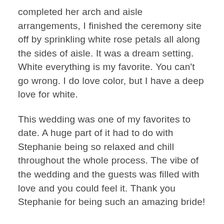completed her arch and aisle arrangements, I finished the ceremony site off by sprinkling white rose petals all along the sides of aisle. It was a dream setting. White everything is my favorite. You can't go wrong. I do love color, but I have a deep love for white.
This wedding was one of my favorites to date. A huge part of it had to do with Stephanie being so relaxed and chill throughout the whole process. The vibe of the wedding and the guests was filled with love and you could feel it. Thank you Stephanie for being such an amazing bride!